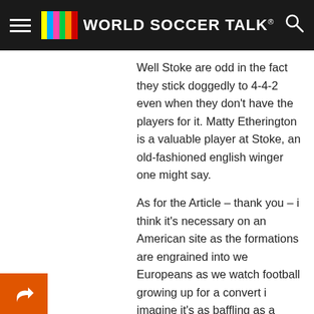World Soccer Talk
Well Stoke are odd in the fact they stick doggedly to 4-4-2 even when they don't have the players for it. Matty Etherington is a valuable player at Stoke, an old-fashioned english winger one might say.
As for the Article – thank you – i think it's necessary on an American site as the formations are engrained into we Europeans as we watch football growing up for a convert i imagine it's as baffling as a Nickel defense formation is to me.
REPLY
jason
September 21, 2010 at 2:50 pm
you add the 3-6-1? I know that exists too.